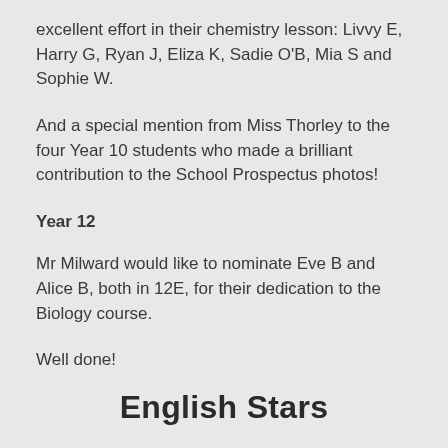excellent effort in their chemistry lesson: Livvy E, Harry G, Ryan J, Eliza K, Sadie O'B, Mia S and Sophie W.
And a special mention from Miss Thorley to the four Year 10 students who made a brilliant contribution to the School Prospectus photos!
Year 12
Mr Milward would like to nominate Eve B and Alice B, both in 12E, for their dedication to the Biology course.
Well done!
English Stars